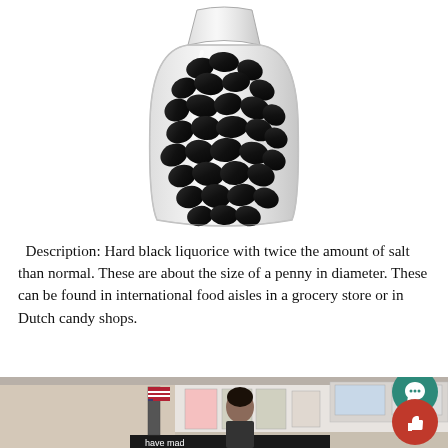[Figure (photo): A clear plastic bag filled with black hard liquorice candies, viewed from above. The candies are round, dark black in color, filling the transparent bag.]
Description: Hard black liquorice with twice the amount of salt than normal. These are about the size of a penny in diameter. These can be found in international food aisles in a grocery store or in Dutch candy shops.
[Figure (photo): A classroom scene with a person standing in front of a whiteboard, an American flag visible on the left. Posters on the wall. A green circular chat icon and a red circular thumbs-up icon overlay the bottom-right of the image.]